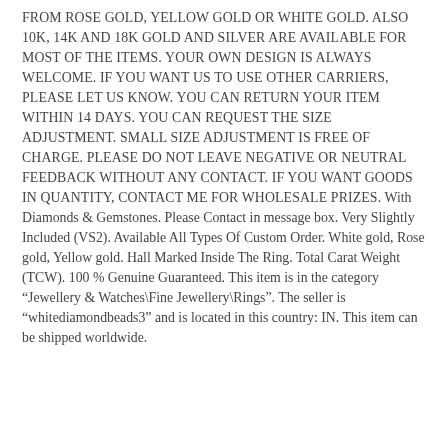FROM ROSE GOLD, YELLOW GOLD OR WHITE GOLD. ALSO 10K, 14K AND 18K GOLD AND SILVER ARE AVAILABLE FOR MOST OF THE ITEMS. YOUR OWN DESIGN IS ALWAYS WELCOME. IF YOU WANT US TO USE OTHER CARRIERS, PLEASE LET US KNOW. YOU CAN RETURN YOUR ITEM WITHIN 14 DAYS. YOU CAN REQUEST THE SIZE ADJUSTMENT. SMALL SIZE ADJUSTMENT IS FREE OF CHARGE. PLEASE DO NOT LEAVE NEGATIVE OR NEUTRAL FEEDBACK WITHOUT ANY CONTACT. IF YOU WANT GOODS IN QUANTITY, CONTACT ME FOR WHOLESALE PRIZES. With Diamonds & Gemstones. Please Contact in message box. Very Slightly Included (VS2). Available All Types Of Custom Order. White gold, Rose gold, Yellow gold. Hall Marked Inside The Ring. Total Carat Weight (TCW). 100 % Genuine Guaranteed. This item is in the category “Jewellery & Watches\Fine Jewellery\Rings”. The seller is “whitediamondbeads3” and is located in this country: IN. This item can be shipped worldwide.